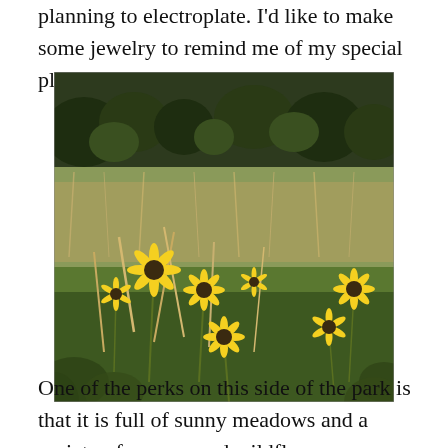planning to electroplate. I'd like to make some jewelry to remind me of my special place.
[Figure (photo): A sunny meadow with yellow wildflowers (sunflowers) growing among tall green and wheat-colored grasses, with a dense tree line in the background.]
One of the perks on this side of the park is that it is full of sunny meadows and a variety of grasses and wildflowers